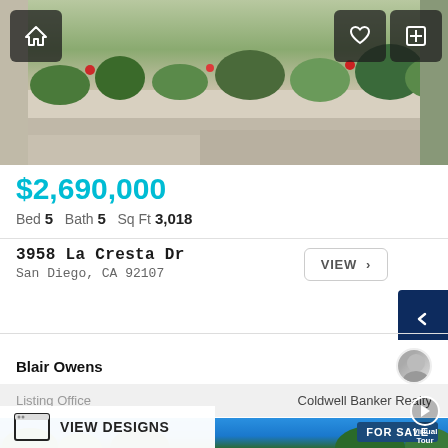[Figure (photo): Exterior photo of residential property showing a white concrete retaining wall with lush garden plantings and tropical vegetation on top]
$2,690,000
Bed 5   Bath 5   Sq Ft 3,018
3958 La Cresta Dr
San Diego, CA 92107
VIEW >
Blair Owens
Listing Office   Coldwell Banker Realty
[Figure (photo): Exterior photo showing palm trees against a blue sky, for sale listing]
FOR SALE
VIEW DESIGNS
Virtual Tour